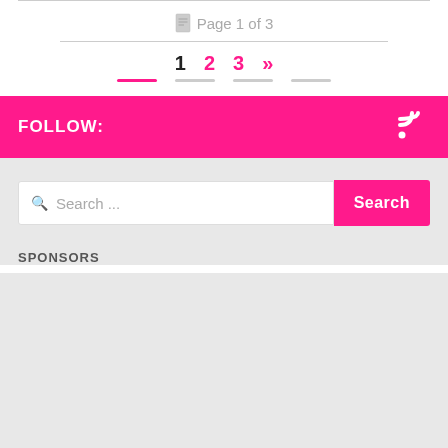Page 1 of 3
1  2  3  »
FOLLOW:
Search ...
Search
SPONSORS